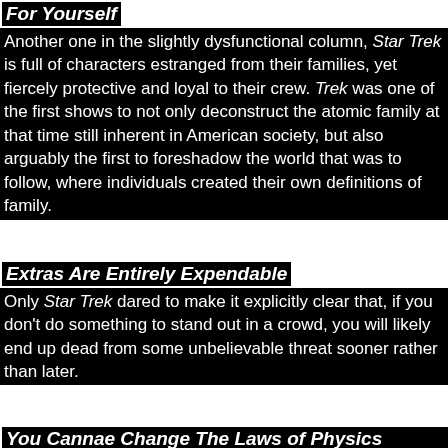For Yourself
Another one in the slightly dysfunctional column, Star Trek is full of characters estranged from their families, yet fiercely protective and loyal to their crew. Trek was one of the first shows to not only deconstruct the atomic family at that time still inherent in American society, but also arguably the first to foreshadow the world that was to follow, where individuals created their own definitions of family.
Extras Are Entirely Expendable
Only Star Trek dared to make it explicitly clear that, if you don't do something to stand out in a crowd, you will likely end up dead from some unbelievable threat sooner rather than later.
You Cannae Change The Laws of Physics (Unless It Suits Your Purposes)
As Scotty was fond of telling us, some things are just plain immutable... and yet, every week, the Enterprise managed to